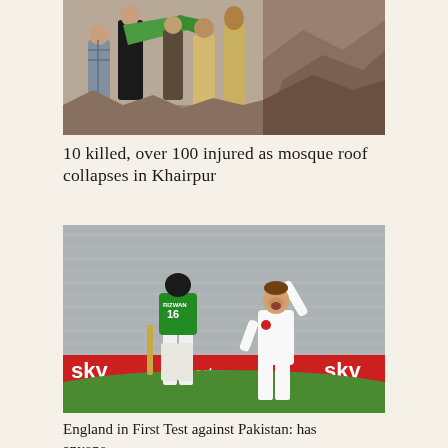[Figure (photo): People at a disaster site, debris and rubble visible, individuals holding green fabric/cloth, appears to be aftermath of building or structure collapse in Pakistan]
10 killed, over 100 injured as mosque roof collapses in Khairpur
[Figure (photo): Cricket match photo showing Pakistan batsman RIZWAN wearing jersey number 16 facing an England bowler celebrating on a cricket ground with Sky Sports advertising boards visible]
England in First Test against Pakistan: has anyone...